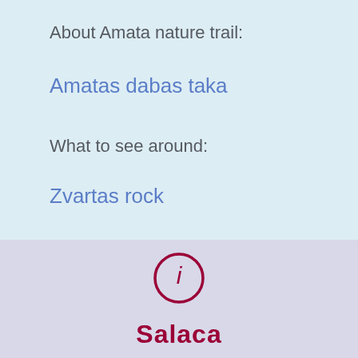About Amata nature trail:
Amatas dabas taka
What to see around:
Zvartas rock
[Figure (infographic): Info icon (circle with lowercase i) above the text Salaca in bold dark red]
Salaca